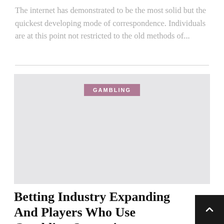The internet has demonstrated to be the most solid but the quickest developing mode of correspondence. Individuals are at this point not restricted to the old methods of...
[Figure (illustration): A light grey placeholder image block with a 'GAMBLING' category tag in mauve/purple centered near the top of the image.]
Betting Industry Expanding And Players Who Use Gambling Strategies